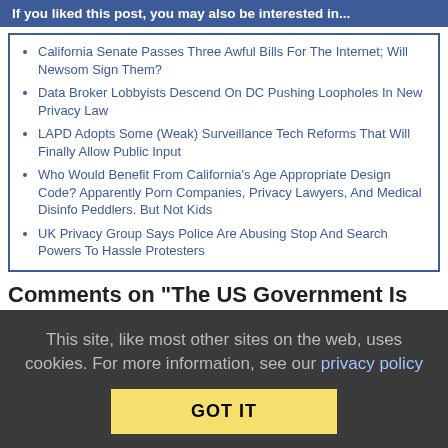If you liked this post, you may also be interested in...
California Senate Passes Three Awful Bills For The Internet; Will Newsom Sign Them?
Data Broker Lobbyists Descend On DC Pushing Loopholes In New Privacy Law
LAPD Adopts Some (Weak) Surveillance Tech Reforms That Will Finally Allow Public Input
Who Would Benefit From California's Age Appropriate Design Code? Apparently Porn Companies, Privacy Lawyers, And Medical Disinfo Peddlers. But Not Kids
UK Privacy Group Says Police Are Abusing Stop And Search Powers To Hassle Protesters
Comments on “The US Government Is Also
This site, like most other sites on the web, uses cookies. For more information, see our privacy policy
GOT IT